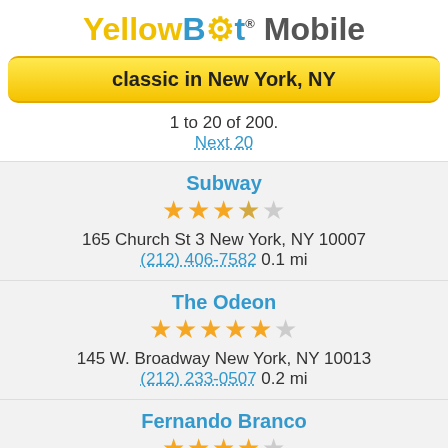YellowBot® Mobile
classic in New York, NY
1 to 20 of 200.
Next 20
Subway
★★★★☆☆
165 Church St 3 New York, NY 10007
(212) 406-7582 0.1 mi
The Odeon
★★★★★☆
145 W. Broadway New York, NY 10013
(212) 233-0507 0.2 mi
Fernando Branco
★★★★☆☆
233 Broadway New York, NY 10279
(212) 233-4177 0.2 mi